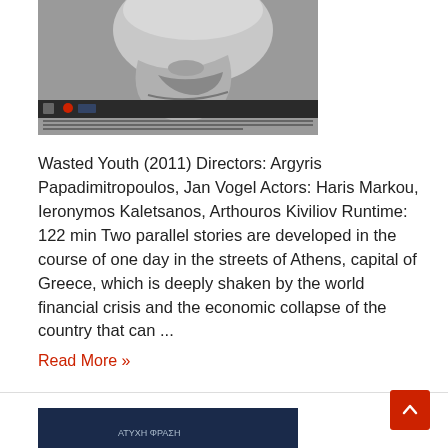[Figure (photo): Black and white close-up film poster for 'Wasted Youth' (2011) showing a person's face, with film festival logos and credits text at the bottom]
Wasted Youth (2011) Directors: Argyris Papadimitropoulos, Jan Vogel Actors: Haris Markou, Ieronymos Kaletsanos, Arthouros Kiviliov Runtime: 122 min Two parallel stories are developed in the course of one day in the streets of Athens, capital of Greece, which is deeply shaken by the world financial crisis and the economic collapse of the country that can ...
Read More »
[Figure (photo): Partial view of another film poster at the bottom of the page, dark blue background]